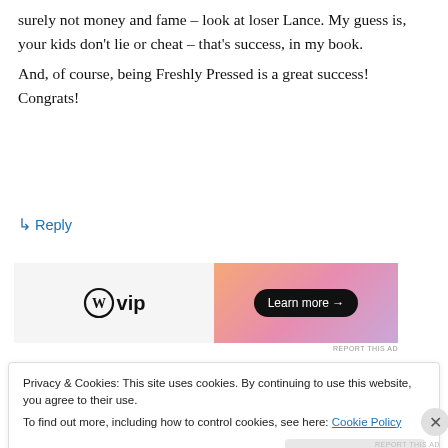surely not money and fame – look at loser Lance. My guess is, your kids don't lie or cheat – that's success, in my book.
And, of course, being Freshly Pressed is a great success! Congrats!
↳ Reply
[Figure (other): WordPress VIP advertisement banner with 'WVip' logo on left gray background and orange-pink gradient on right with 'Learn more →' button]
Privacy & Cookies: This site uses cookies. By continuing to use this website, you agree to their use.
To find out more, including how to control cookies, see here: Cookie Policy
Close and accept